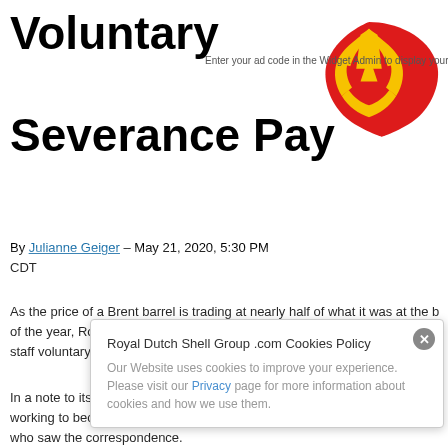Voluntary Severance Pay
[Figure (logo): Royal Dutch Shell logo — yellow shell shape with red outline on white background]
Enter your ad code in the Widget Admin to display your ads here
By Julianne Geiger – May 21, 2020, 5:30 PM CDT
As the price of a Brent barrel is trading at nearly half of what it was at the beginning of the year, Royal Dutch Shell Plc (NYSE: RDS.A) is planning on offering some of its staff voluntary severance, according to Bloomberg sources.
In a note to its staff, Shell CEO Ben van Beurden said that the Dutch oil major was working to become leaner and more resilient, according to the Bloomberg sources who saw the correspondence.
read more
Royal Dutch Shell Group .com Cookies Policy
Our Website uses cookies to improve your experience. Please visit our Privacy page for more information about cookies and how we use them.